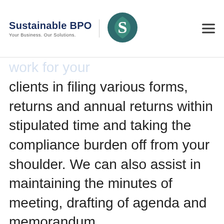Sustainable BPO — Your Business. Our Solutions.
and that's where SBPO can assist you. We can remotely work for your clients in filing various forms, returns and annual returns within stipulated time and taking the compliance burden off from your shoulder. We can also assist in maintaining the minutes of meeting, drafting of agenda and memorandum.